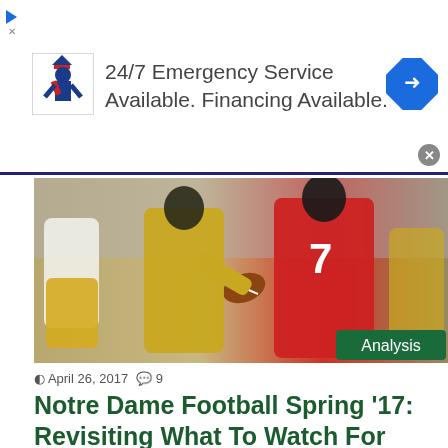[Figure (infographic): Top advertisement banner: logo with person figure, text '24/7 Emergency Service Available. Financing Available.', blue diamond arrow icon, close button]
[Figure (photo): American football game action photo: player in red jersey number 7 running with ball, defenders in gold/white uniforms, with 'Analysis' green badge overlay in bottom right]
April 26, 2017  🗨 9
Notre Dame Football Spring '17: Revisiting What To Watch For
At the start of spring ball I highlighted one thing from each position group on offense and defense I wanted to pay close attention to in a two post series....
[Figure (infographic): Bottom advertisement banner: MCA logo, checkmark icons with 'Dine-in' and 'Curbside pickup' text, blue diamond arrow, close X button]